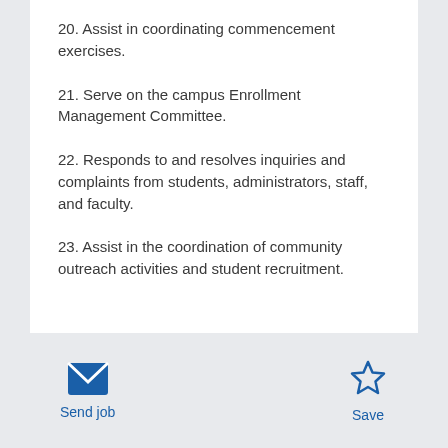20. Assist in coordinating commencement exercises.
21. Serve on the campus Enrollment Management Committee.
22. Responds to and resolves inquiries and complaints from students, administrators, staff, and faculty.
23. Assist in the coordination of community outreach activities and student recruitment.
Send job
Save